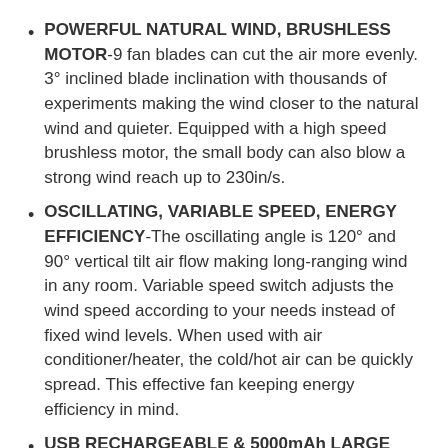POWERFUL NATURAL WIND, BRUSHLESS MOTOR-9 fan blades can cut the air more evenly. 3° inclined blade inclination with thousands of experiments making the wind closer to the natural wind and quieter. Equipped with a high speed brushless motor, the small body can also blow a strong wind reach up to 230in/s.
OSCILLATING, VARIABLE SPEED, ENERGY EFFICIENCY-The oscillating angle is 120° and 90° vertical tilt air flow making long-ranging wind in any room. Variable speed switch adjusts the wind speed according to your needs instead of fixed wind levels. When used with air conditioner/heater, the cold/hot air can be quickly spread. This effective fan keeping energy efficiency in mind.
USB RECHARGEABLE & 5000mAh LARGE